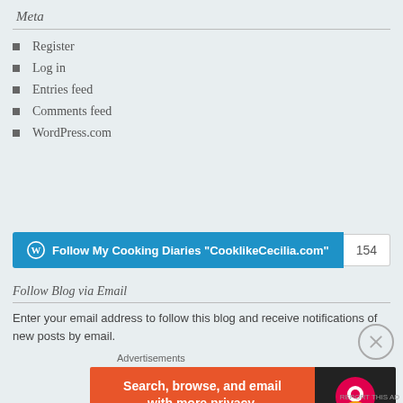Meta
Register
Log in
Entries feed
Comments feed
WordPress.com
[Figure (other): Follow My Cooking Diaries 'CooklikeCecilia.com' button with follower count 154]
Follow Blog via Email
Enter your email address to follow this blog and receive notifications of new posts by email.
Advertisements
[Figure (other): DuckDuckGo advertisement banner: Search, browse, and email with more privacy. All in One Free App.]